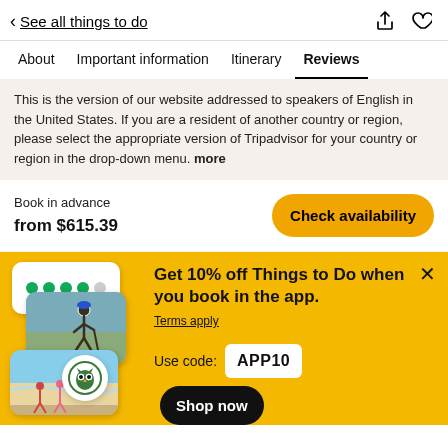< See all things to do
About  Important information  Itinerary  Reviews
This is the version of our website addressed to speakers of English in the United States. If you are a resident of another country or region, please select the appropriate version of Tripadvisor for your country or region in the drop-down menu. more
Book in advance
from $615.39
Check availability
[Figure (infographic): Yellow promotional banner with app screenshots showing activities. Tripadvisor owl badge visible.]
Get 10% off Things to Do when you book in the app.
Terms apply
Use code:  APP10  Shop now